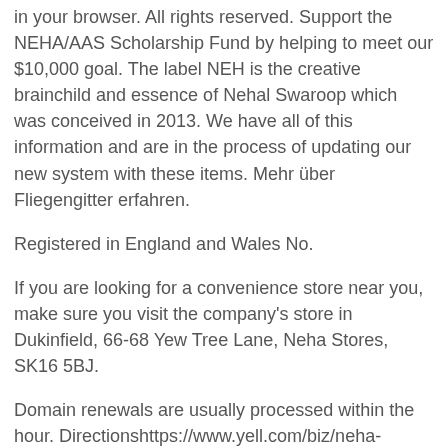in your browser. All rights reserved. Support the NEHA/AAS Scholarship Fund by helping to meet our $10,000 goal. The label NEH is the creative brainchild and essence of Nehal Swaroop which was conceived in 2013. We have all of this information and are in the process of updating our new system with these items. Mehr über Fliegengitter erfahren.
Registered in England and Wales No.
If you are looking for a convenience store near you, make sure you visit the company's store in Dukinfield, 66-68 Yew Tree Lane, Neha Stores, SK16 5BJ.
Domain renewals are usually processed within the hour. Directionshttps://www.yell.com/biz/neha-stores-dukinfield-6164337/#view=map. JavaScript seems to be disabled in your browser.
To get started: Go to the login page here. The online trainings include our webinars, partner courses, and E-Learning v...